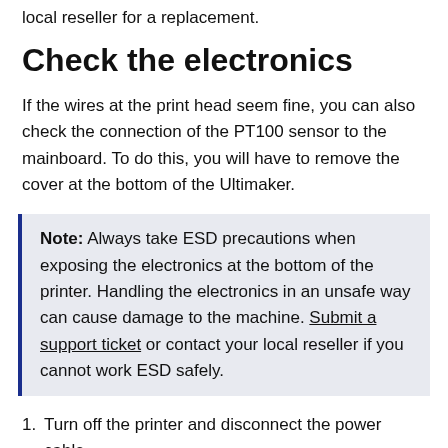local reseller for a replacement.
Check the electronics
If the wires at the print head seem fine, you can also check the connection of the PT100 sensor to the mainboard. To do this, you will have to remove the cover at the bottom of the Ultimaker.
Note: Always take ESD precautions when exposing the electronics at the bottom of the printer. Handling the electronics in an unsafe way can cause damage to the machine. Submit a support ticket or contact your local reseller if you cannot work ESD safely.
Turn off the printer and disconnect the power cable
Carefully place the printer on its side.